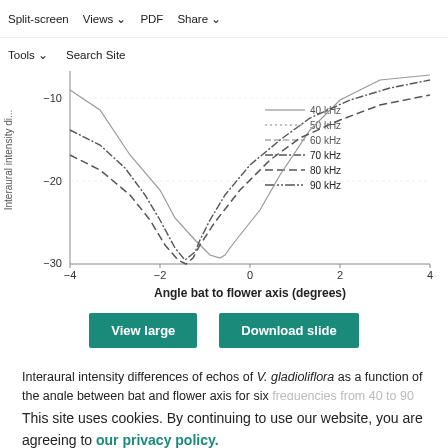Split-screen  Views  PDF  Share  Tools  Search Site
[Figure (continuous-plot): Line chart showing interaural intensity differences (dB) of echoes of V. gladioliflora as a function of angle bat to flower axis (degrees) for six frequencies: 40 kHz (solid), 50 kHz (dotted), 60 kHz (short dash), 70 kHz (dash-dot), 80 kHz (dashed), 90 kHz (long dash-dot). Y-axis from -30 to 0 (approx), X-axis from -4 to 4 degrees.]
View large    Download slide
Interaural intensity differences of echos of V. gladioliflora as a function of the angle between bat and flower axis for six frequencies from 40 to 90 kHz. Frontal orientation, i.e. 0°, indicates
This site uses cookies. By continuing to use our website, you are agreeing to our privacy policy. Accept